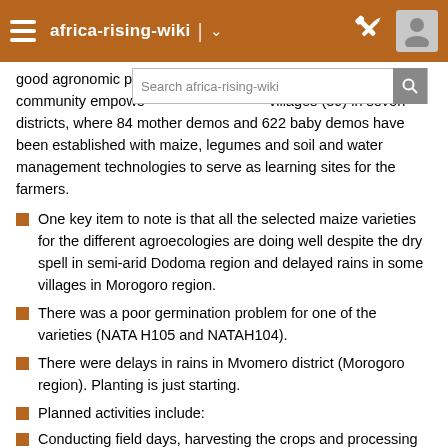africa-rising-wiki
good agronomic practices, natural resource management and community empowerment villages (39) in seven districts, where 84 mother demos and 622 baby demos have been established with maize, legumes and soil and water management technologies to serve as learning sites for the farmers.
One key item to note is that all the selected maize varieties for the different agroecologies are doing well despite the dry spell in semi-arid Dodoma region and delayed rains in some villages in Morogoro region.
There was a poor germination problem for one of the varieties (NATA H105 and NATAH104).
There were delays in rains in Mvomero district (Morogoro region). Planting is just starting.
Planned activities include:
Conducting field days, harvesting the crops and processing yield data, finalization of writing of extension materials and monitoring of progress/advisory visits.